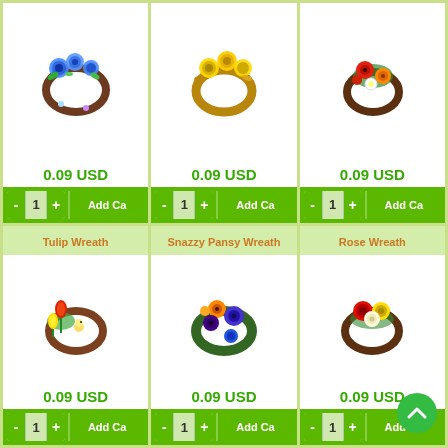[Figure (illustration): Blue rose wreath product image]
0.09 USD
[Figure (illustration): Gold/yellow rose wreath product image]
0.09 USD
[Figure (illustration): Red and orange poppy wreath product image]
0.09 USD
Tulip Wreath
[Figure (illustration): Tulip wreath product image]
0.09 USD
Snazzy Pansy Wreath
[Figure (illustration): Snazzy pansy wreath product image]
0.09 USD
Rose Wreath
[Figure (illustration): Rose wreath product image with red, yellow, white roses]
0.09 USD